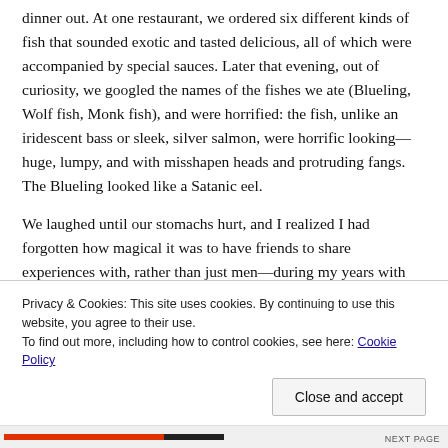dinner out.  At one restaurant, we ordered six different kinds of fish that sounded exotic and tasted delicious, all of which were accompanied by special sauces.  Later that evening, out of curiosity, we googled the names of the fishes we ate (Blueling, Wolf fish, Monk fish), and were horrified:  the fish, unlike an iridescent bass or sleek, silver salmon, were horrific looking—huge, lumpy, and with misshapen heads and protruding fangs. The Blueling looked like a Satanic eel.
We laughed until our stomachs hurt, and I realized I had forgotten how magical it was to have friends to share experiences with, rather than just men—during my years with Evan, we shared plenty of laughter, but I was always slightly conscious of performing around him, of performing femininity
Privacy & Cookies: This site uses cookies. By continuing to use this website, you agree to their use.
To find out more, including how to control cookies, see here: Cookie Policy
Close and accept